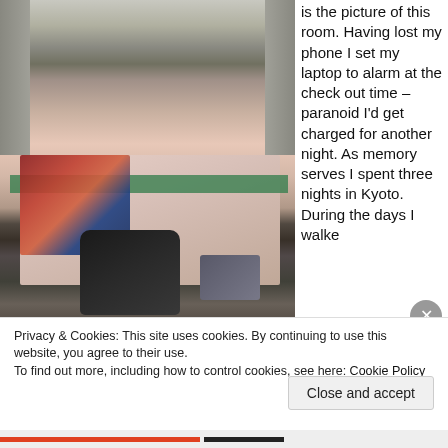[Figure (photo): A cluttered hotel/hostel room in Kyoto showing a low bed with pink sheets covered in backpacking gear, electronics, cables, and a colorful blanket. On the floor is a large black backpack and a grey external hard drive or device. Curtains visible in background.]
is the picture of this room. Having lost my phone I set my laptop to alarm at the check out time – paranoid I'd get charged for another night. As memory serves I spent three nights in Kyoto. During the days I walke
Privacy & Cookies: This site uses cookies. By continuing to use this website, you agree to their use.
To find out more, including how to control cookies, see here: Cookie Policy
Close and accept